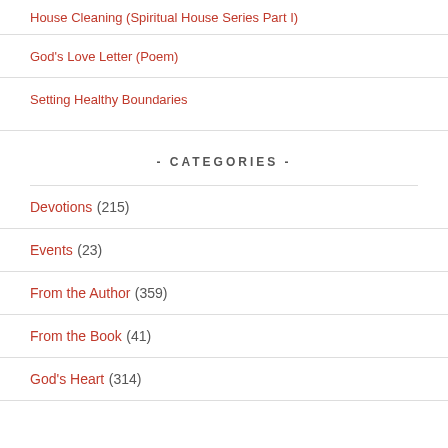House Cleaning (Spiritual House Series Part I)
God's Love Letter (Poem)
Setting Healthy Boundaries
- CATEGORIES -
Devotions (215)
Events (23)
From the Author (359)
From the Book (41)
God's Heart (314)